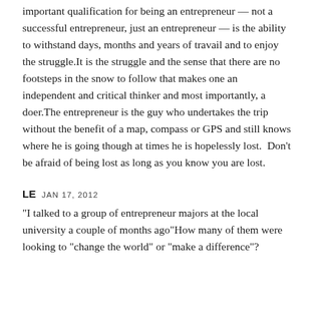important qualification for being an entrepreneur — not a successful entrepreneur, just an entrepreneur — is the ability to withstand days, months and years of travail and to enjoy the struggle.It is the struggle and the sense that there are no footsteps in the snow to follow that makes one an independent and critical thinker and most importantly, a doer.The entrepreneur is the guy who undertakes the trip without the benefit of a map, compass or GPS and still knows where he is going though at times he is hopelessly lost.  Don't be afraid of being lost as long as you know you are lost.
LE JAN 17, 2012
“I talked to a group of entrepreneur majors at the local university a couple of months ago”How many of them were looking to “change the world” or “make a difference”?